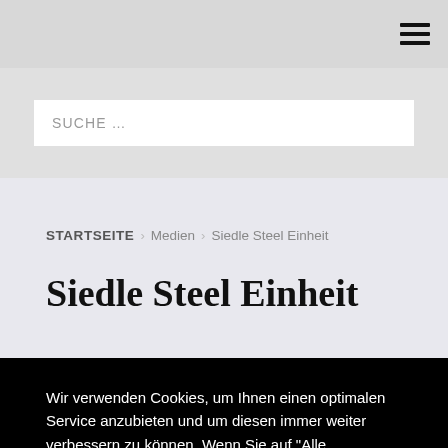☰ (hamburger menu)
SUCHE …
STARTSEITE › Medien › Siedle Steel Einheit
Siedle Steel Einheit
Wir verwenden Cookies, um Ihnen einen optimalen Service anzubieten und um diesen immer weiter verbessern zu können. Wenn Sie auf "Alle akzeptieren" klicken, erklären Sie sich mit der Verwendung ALLER Cookies einverstanden. Sie können jedoch die "Cookie-Einstellungen" besuchen, um eine individuelle Zustimmung zu erteilen.
Cookie Settings
Alle akzeptieren